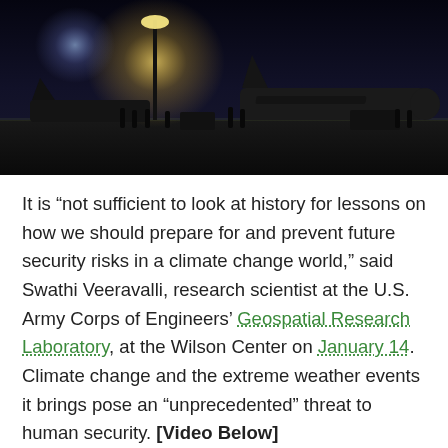[Figure (photo): Nighttime photo of a military tarmac scene with aircraft silhouettes and personnel, illuminated by bright lights against a dark sky.]
It is “not sufficient to look at history for lessons on how we should prepare for and prevent future security risks in a climate change world,” said Swathi Veeravalli, research scientist at the U.S. Army Corps of Engineers’ Geospatial Research Laboratory, at the Wilson Center on January 14. Climate change and the extreme weather events it brings pose an “unprecedented” threat to human security. [Video Below]
Natural disasters, driven in part by climate change, are affecting more people via higher frequency and intensity events, and a great number of people living in vulnerable